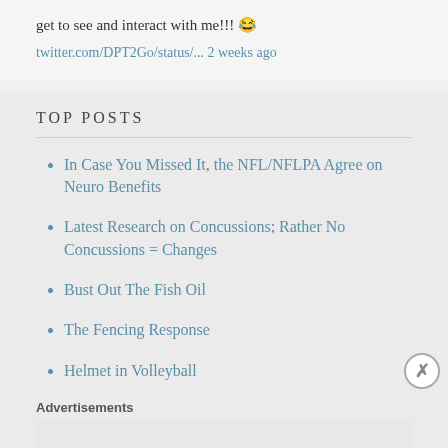get to see and interact with me!!! 😂
twitter.com/DPT2Go/status/... 2 weeks ago
TOP POSTS
In Case You Missed It, the NFL/NFLPA Agree on Neuro Benefits
Latest Research on Concussions; Rather No Concussions = Changes
Bust Out The Fish Oil
The Fencing Response
Helmet in Volleyball
Advertisements